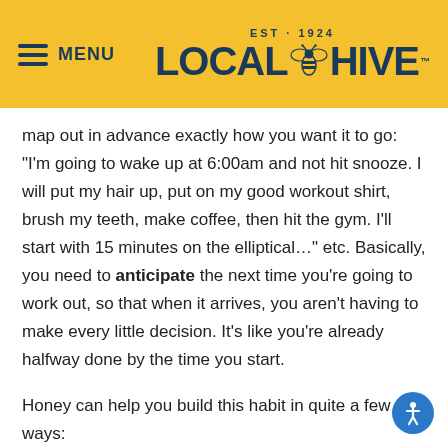MENU | LOCAL HIVE EST 1924
map out in advance exactly how you want it to go: “I’m going to wake up at 6:00am and not hit snooze. I will put my hair up, put on my good workout shirt, brush my teeth, make coffee, then hit the gym. I’ll start with 15 minutes on the elliptical…” etc. Basically, you need to anticipate the next time you’re going to work out, so that when it arrives, you aren't having to make every little decision. It's like you’re already halfway done by the time you start.
Honey can help you build this habit in quite a few ways: